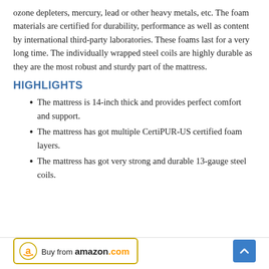ozone depleters, mercury, lead or other heavy metals, etc. The foam materials are certified for durability, performance as well as content by international third-party laboratories. These foams last for a very long time. The individually wrapped steel coils are highly durable as they are the most robust and sturdy part of the mattress.
HIGHLIGHTS
The mattress is 14-inch thick and provides perfect comfort and support.
The mattress has got multiple CertiPUR-US certified foam layers.
The mattress has got very strong and durable 13-gauge steel coils.
[Figure (other): Buy from amazon.com button with Amazon logo and scroll-to-top blue button]